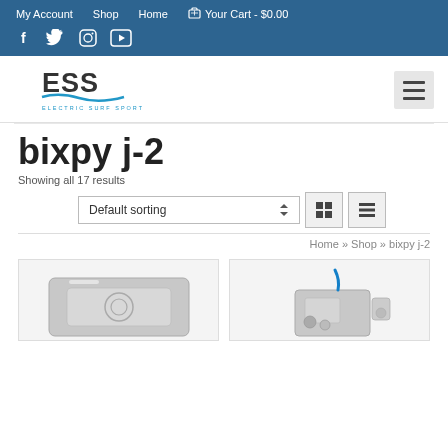My Account  Shop  Home  Your Cart - $0.00
[Figure (logo): ESS Electric Surf Sports logo with stylized wave graphic]
bixpy j-2
Showing all 17 results
Default sorting
Home » Shop » bixpy j-2
[Figure (photo): Two product images partially visible: left shows a flat silver rectangular device, right shows a product with blue cord and accessories]
[Figure (screenshot): E-commerce website screenshot of ESS Electric Surf Sports showing bixpy j-2 category page with sorting controls and product grid]